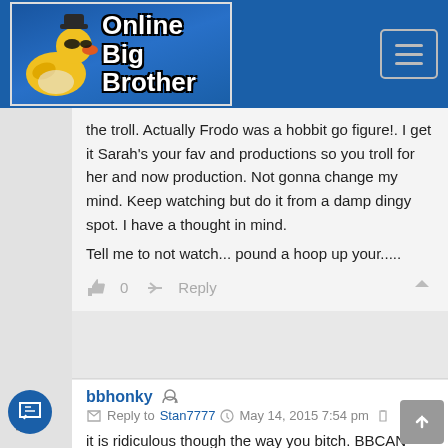[Figure (logo): Online Big Brother website logo with rubber duck wearing sunglasses and hat, blue background with white outlined bold text reading 'Online Big Brother']
the troll. Actually Frodo was a hobbit go figure!. I get it Sarah's your fav and productions so you troll for her and now production. Not gonna change my mind. Keep watching but do it from a damp dingy spot. I have a thought in mind.
Tell me to not watch... pound a hoop up your.....
0   Reply
bbhonky
Reply to Stan7777  May 14, 2015 7:54 pm
it is ridiculous though the way you bitch. BBCAN has always been heavy handed with twists..it is a mix between BBUS and BBUK...if you don't like the heavy twist component then you will never like BBCAN and it does seem odd you would keep watching. Of course it is